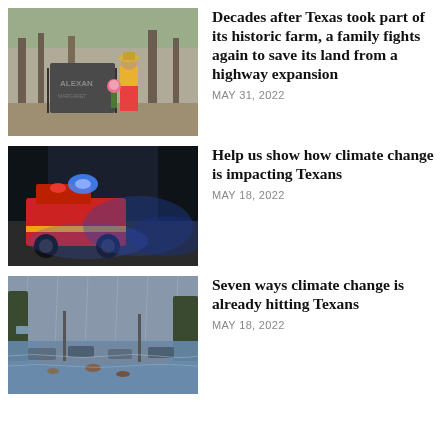[Figure (photo): Person standing at a gravestone memorial with flowers, trees in background]
Decades after Texas took part of its historic farm, a family fights again to save its land from a highway expansion
MAY 31, 2022
[Figure (photo): Fire truck with flashing blue and red lights at night in foggy conditions]
Help us show how climate change is impacting Texans
MAY 18, 2022
[Figure (photo): Flooded highway with cars partially submerged and trees in heavy rain]
Seven ways climate change is already hitting Texans
MAY 18, 2022